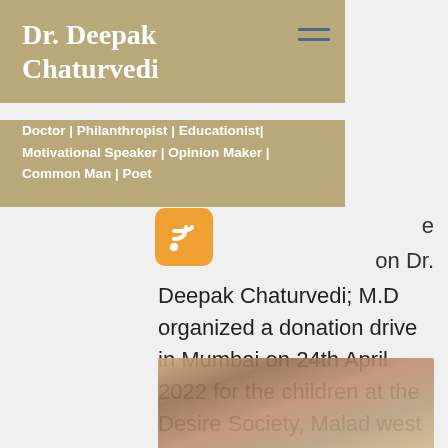Dr. Deepak Chaturvedi
Doctor | Philanthropist | Educationist| Motivational Speaker | Opinion Maker | Common Man | Poet
[Figure (other): RSS feed icon - orange rounded square with white RSS symbol]
e on Dr. Deepak Chaturvedi; M.D organized a donation drive in Mumbai on 24th April 2022 for the children at the Desire Society, Malad west
[Figure (photo): Blurred photo showing a group of people including children at the Desire Society, Malad west event]